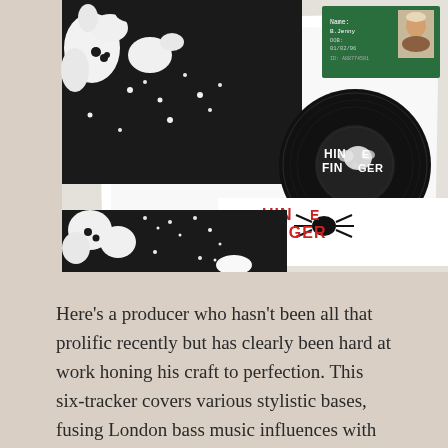[Figure (photo): Product photo of Hinge Finger record label releases: black printed record sleeves with white blob/spot patterns, a white inner sleeve, a black vinyl record with white Hinge Finger label text, a green ID card with a child's photo, and a white sleeve with red and black Hinge Finger spider logo.]
Here's a producer who hasn't been all that prolific recently but has clearly been hard at work honing his craft to perfection. This six-tracker covers various stylistic bases, fusing London bass music influences with hi-tech